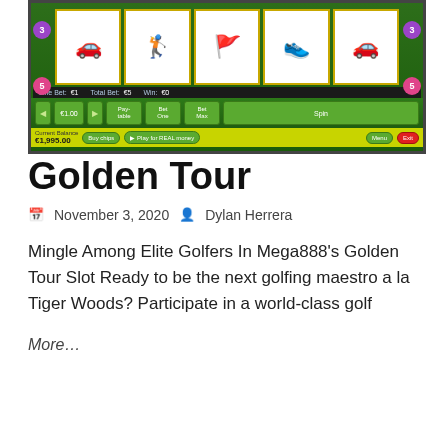[Figure (screenshot): Screenshot of Golden Tour slot machine game showing golf-themed slot reels with golf cart, golf bag, flag, shoes symbols, betting controls, and balance of €1,995.00]
Golden Tour
November 3, 2020   Dylan Herrera
Mingle Among Elite Golfers In Mega888's Golden Tour Slot Ready to be the next golfing maestro a la Tiger Woods? Participate in a world-class golf
More…